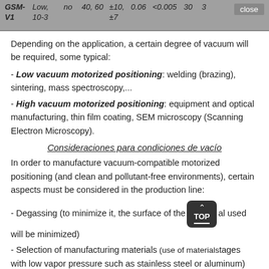| GSM-V1 | Low, 10-3 | no | 40, 60 | ±10, ±7 | 0.06 | <0.005 | 30 | 3 |
| --- | --- | --- | --- | --- | --- | --- | --- | --- |
Depending on the application, a certain degree of vacuum will be required, some typical:
- Low vacuum motorized positioning: welding (brazing), sintering, mass spectroscopy,...
- High vacuum motorized positioning: equipment and optical manufacturing, thin film coating, SEM microscopy (Scanning Electron Microscopy).
Consideraciones para condiciones de vacío
In order to manufacture vacuum-compatible motorized positioning (and clean and pollutant-free environments), certain aspects must be considered in the production line:
- Degassing (to minimize it, the surface of the material used will be minimized)
- Selection of manufacturing materials (use of materials with low vapor pressure such as stainless steel or aluminum)